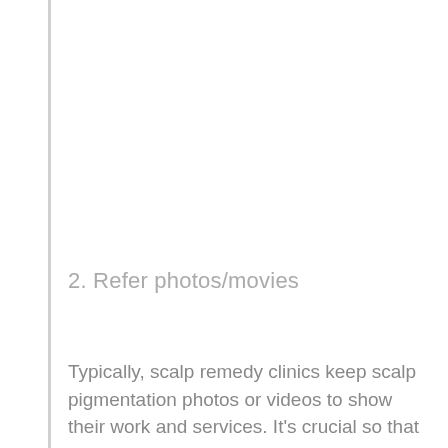2. Refer photos/movies
Typically, scalp remedy clinics keep scalp pigmentation photos or videos to show their work and services. It's crucial so that you can look by way of these, as inform allow you to get an thought of the process adopted and put together you in